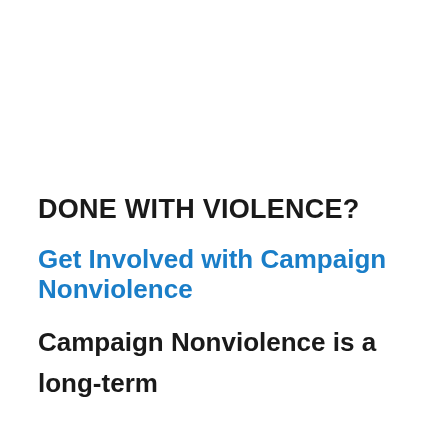DONE WITH VIOLENCE?
Get Involved with Campaign Nonviolence
Campaign Nonviolence is a long-term movement for a culture of peace and nonviolence free from war, poverty, racism, environmental destruction and